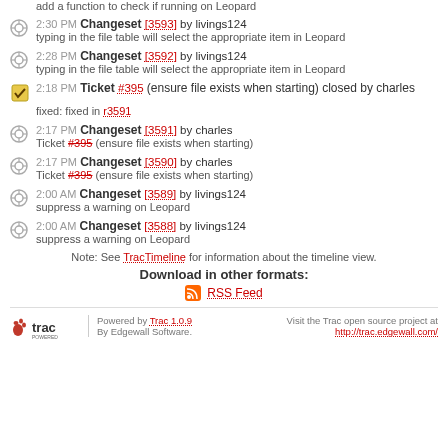add a function to check if running on Leopard
2:30 PM Changeset [3593] by livings124 — typing in the file table will select the appropriate item in Leopard
2:28 PM Changeset [3592] by livings124 — typing in the file table will select the appropriate item in Leopard
2:18 PM Ticket #395 (ensure file exists when starting) closed by charles — fixed: fixed in r3591
2:17 PM Changeset [3591] by charles — Ticket #395 (ensure file exists when starting)
2:17 PM Changeset [3590] by charles — Ticket #395 (ensure file exists when starting)
2:00 AM Changeset [3589] by livings124 — suppress a warning on Leopard
2:00 AM Changeset [3588] by livings124 — suppress a warning on Leopard
Note: See TracTimeline for information about the timeline view.
Download in other formats:
RSS Feed
Powered by Trac 1.0.9 By Edgewall Software. Visit the Trac open source project at http://trac.edgewall.com/